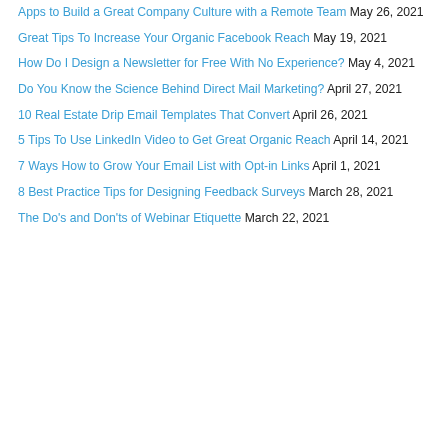Apps to Build a Great Company Culture with a Remote Team May 26, 2021
Great Tips To Increase Your Organic Facebook Reach May 19, 2021
How Do I Design a Newsletter for Free With No Experience? May 4, 2021
Do You Know the Science Behind Direct Mail Marketing? April 27, 2021
10 Real Estate Drip Email Templates That Convert April 26, 2021
5 Tips To Use LinkedIn Video to Get Great Organic Reach April 14, 2021
7 Ways How to Grow Your Email List with Opt-in Links April 1, 2021
8 Best Practice Tips for Designing Feedback Surveys March 28, 2021
The Do's and Don'ts of Webinar Etiquette March 22, 2021